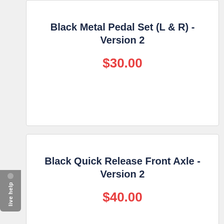Black Metal Pedal Set (L & R) - Version 2
$30.00
Black Quick Release Front Axle - Version 2
$40.00
Black Right Crank Arm with Sprocket (Diamond Bolt Hole)